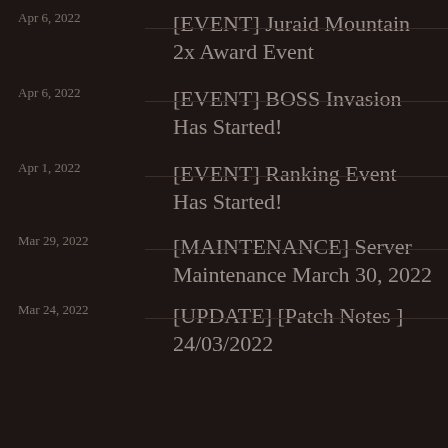Apr 6, 2022 | [EVENT] Juraid Mountain 2x Award Event
Apr 6, 2022 | [EVENT] BOSS Invasion Has Started!
Apr 1, 2022 | [EVENT] Ranking Event Has Started!
Mar 29, 2022 | [MAINTENANCE] Server Maintenance March 30, 2022
Mar 24, 2022 | [UPDATE] [Patch Notes ] 24/03/2022